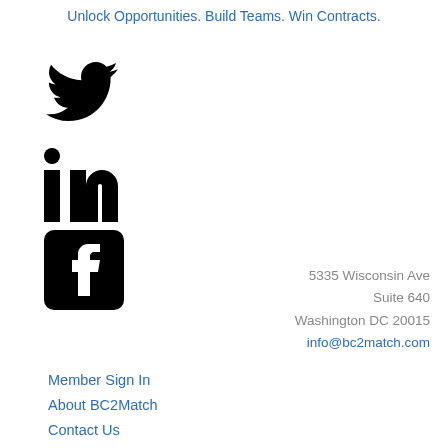Unlock Opportunities. Build Teams. Win Contracts.
[Figure (logo): Twitter bird icon (black)]
[Figure (logo): LinkedIn 'in' icon (black)]
[Figure (logo): Facebook square icon (black)]
5335 Wisconsin Ave
Suite 640
Washington DC 20015
info@bc2match.com
Member Sign In
About BC2Match
Contact Us